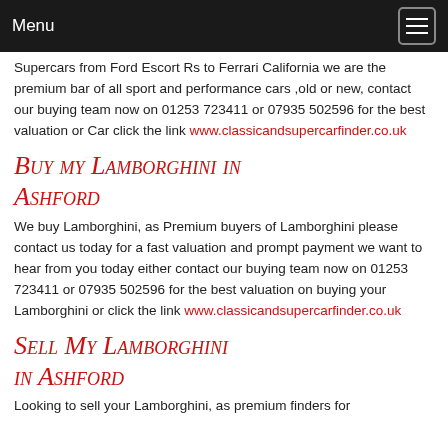Menu
Supercars from Ford Escort Rs to Ferrari California we are the premium bar of all sport and performance cars ,old or new, contact our buying team now on 01253 723411 or 07935 502596 for the best valuation or Car click the link www.classicandsupercarfinder.co.uk
Buy my Lamborghini in Ashford
We buy Lamborghini, as Premium buyers of Lamborghini please contact us today for a fast valuation and prompt payment we want to hear from you today either contact our buying team now on 01253 723411 or 07935 502596 for the best valuation on buying your Lamborghini or click the link www.classicandsupercarfinder.co.uk
Sell My Lamborghini in Ashford
Looking to sell your Lamborghini, as premium finders for